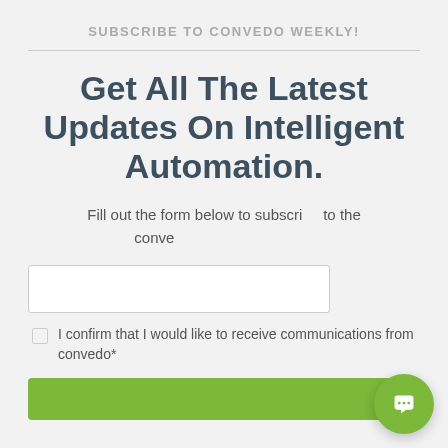SUBSCRIBE TO CONVEDO WEEKLY!
Get All The Latest Updates On Intelligent Automation.
Fill out the form below to subscribe to the conve...
[Figure (screenshot): Chat popup widget with avatar, close button, and text 'Have any questions? Happy to help!']
I confirm that I would like to receive communications from convedo*